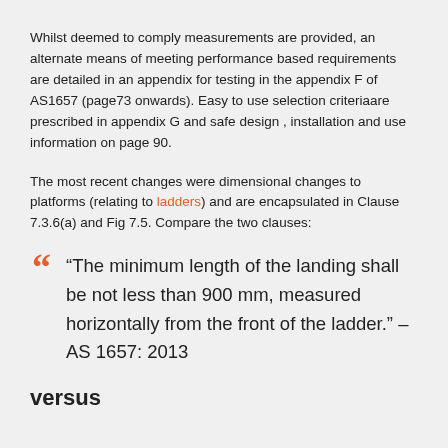Whilst deemed to comply measurements are provided, an alternate means of meeting performance based requirements are detailed in an appendix for testing in the appendix F of AS1657 (page73 onwards). Easy to use selection criteriaare prescribed in appendix G and safe design , installation and use information on page 90.
The most recent changes were dimensional changes to platforms (relating to ladders) and are encapsulated in Clause 7.3.6(a) and Fig 7.5. Compare the two clauses:
“The minimum length of the landing shall be not less than 900 mm, measured horizontally from the front of the ladder.” – AS 1657: 2013
versus